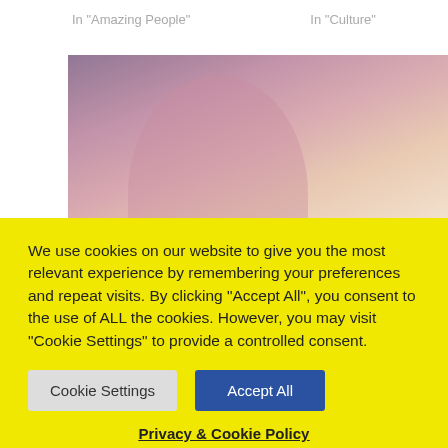In "Amazing People"
In "Culture"
[Figure (photo): Photo of a woman in a photoshoot with warm pink/orange tones]
A St Helena Winter Weather Photoshoot with Imogen
In "Photo Shoots"
We use cookies on our website to give you the most relevant experience by remembering your preferences and repeat visits. By clicking “Accept All”, you consent to the use of ALL the cookies. However, you may visit "Cookie Settings" to provide a controlled consent.
Cookie Settings
Accept All
Privacy & Cookie Policy